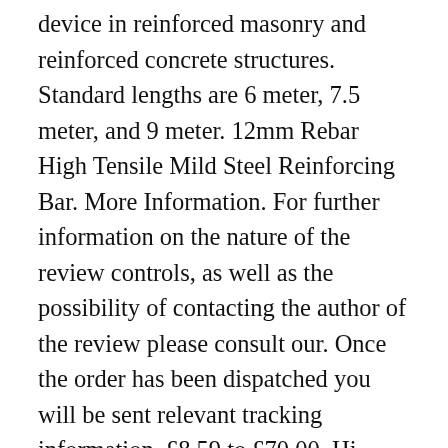device in reinforced masonry and reinforced concrete structures. Standard lengths are 6 meter, 7.5 meter, and 9 meter. 12mm Rebar High Tensile Mild Steel Reinforcing Bar. More Information. For further information on the nature of the review controls, as well as the possibility of contacting the author of the review please consult our. Once the order has been dispatched you will be sent relevant tracking information. £8.59 to £70.00. Hi. Steel Reinforcing Bar High Tensile Rebar 16mm X 6 metre . Buy online. Size Inches Kg./M 6.0M 7.5M 9.0M 10.5M 12.0M Price/Kg; 10mm: 3/8" 0.616: 147.84: 184.80: 221.76 TATA Tiscon Fe-500 is a high strength ribbed TMT reinforcement bar that originated through superior quality